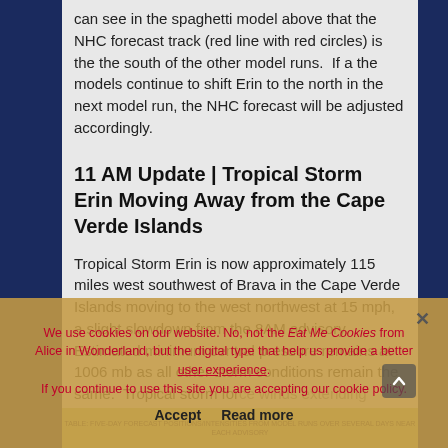can see in the spaghetti model above that the NHC forecast track (red line with red circles) is the the south of the other model runs.  If a the models continue to shift Erin to the north in the next model run, the NHC forecast will be adjusted accordingly.
11 AM Update | Tropical Storm Erin Moving Away from the Cape Verde Islands
Tropical Storm Erin is now approximately 115 miles west southwest of Brava in the Cape Verde Islands moving to the west northwest at 15 mph, a slight slowdown from the 8AM advisory.  Estimated minimum central pressure remains at 1006 mb as all other storm conditions remain the same.  Tropical storm force winds extend outward
We use cookies on our website. No, not the Eat Me Cookies from Alice in Wonderland, but the digital type that help us provide a better user experience. If you continue to use this site you are accepting our cookie policy.